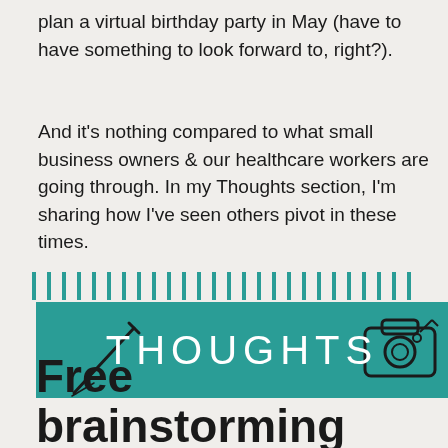plan a virtual birthday party in May (have to have something to look forward to, right?).
And it's nothing compared to what small business owners & our healthcare workers are going through. In my Thoughts section, I'm sharing how I've seen others pivot in these times.
[Figure (illustration): Decorative horizontal divider made of teal vertical tick marks]
[Figure (illustration): Teal banner with white text reading THOUGHTS, decorated with a pen illustration on the left and a camera illustration on the right]
Free brainstorming sessions + more coffee marketing ideas